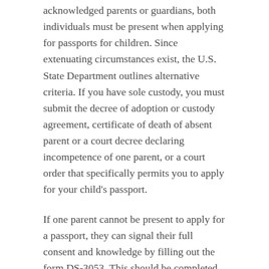acknowledged parents or guardians, both individuals must be present when applying for passports for children. Since extenuating circumstances exist, the U.S. State Department outlines alternative criteria. If you have sole custody, you must submit the decree of adoption or custody agreement, certificate of death of absent parent or a court decree declaring incompetence of one parent, or a court order that specifically permits you to apply for your child's passport.
If one parent cannot be present to apply for a passport, they can signal their full consent and knowledge by filling out the form DS-3053. This should be completed and signed and submitted along with other required documents.
5. In Absentia
This contingency seems like a relic from another age